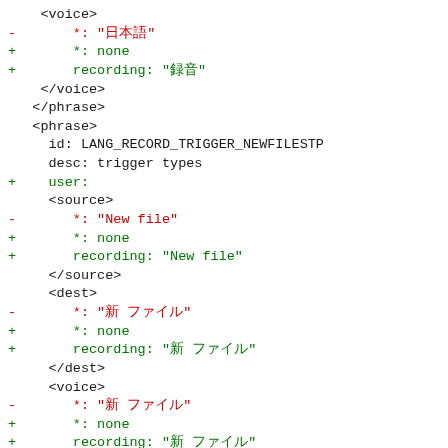Code diff showing YAML/XML localization file changes including voice, phrase, source, dest elements with language record trigger entries and diff hunk header